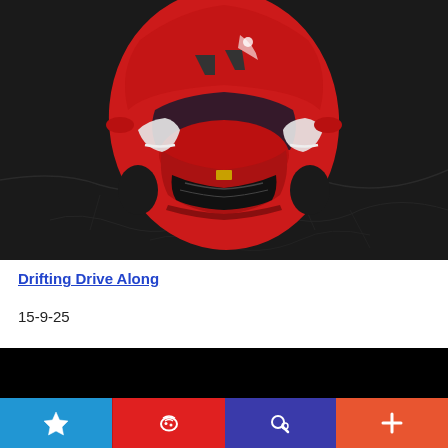[Figure (photo): Aerial front view of a red Nissan GT-R sports car on a dark cracked asphalt surface, black and white background]
Drifting Drive Along
15-9-25
[Figure (other): Black bar section at bottom of content area]
Navigation bar with star, Weibo share, search, and plus icons